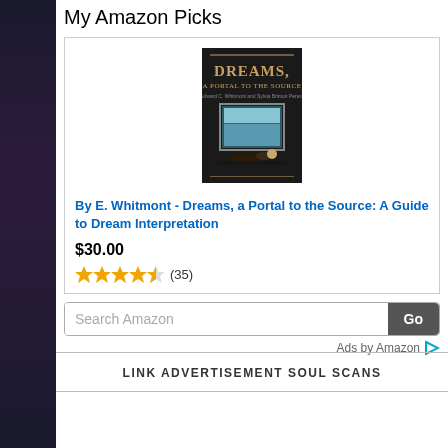My Amazon Picks
[Figure (photo): Book cover of 'Dreams, A Portal to the Source' showing a reclining figure with a framed ocean scene]
By E. Whitmont - Dreams, a Portal to the Source: A Guide to Dream Interpretation
$30.00
★★★★½ (35)
Search Amazon | Go
Ads by Amazon
LINK ADVERTISEMENT SOUL SCANS